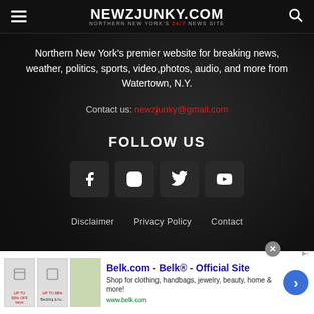NEWZJUNKY.COM — Northern New York's 24/7 News Site
Northern New York's premier website for breaking news, weather, politics, sports, video, photos, audio, and more from Watertown, N.Y.
Contact us: newzjunky@gmail.com
FOLLOW US
[Figure (other): Social media icon buttons: Facebook, Instagram, Twitter, YouTube]
Disclaimer   Privacy Policy   Contact
[Figure (other): Advertisement: Belk.com - Belk® - Official Site. Shop for clothing, handbags, jewelry, beauty, home & more! www.belk.com]